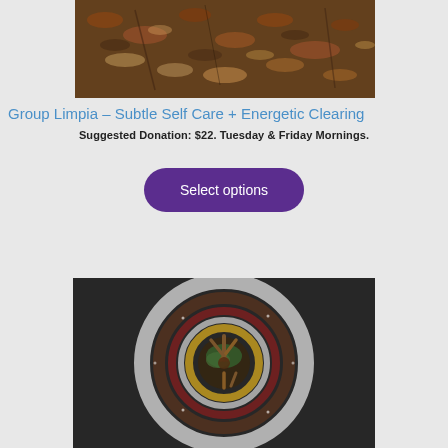[Figure (photo): Overhead photo of dry autumn leaves and soil on the ground]
Group Limpia – Subtle Self Care + Energetic Clearing
Suggested Donation: $22. Tuesday & Friday Mornings.
Select options
[Figure (photo): Overhead view of a circular mandala made from natural materials including white powder, yellow flowers, green herbs, brown soil, and cinnamon sticks arranged in concentric rings on a dark surface]